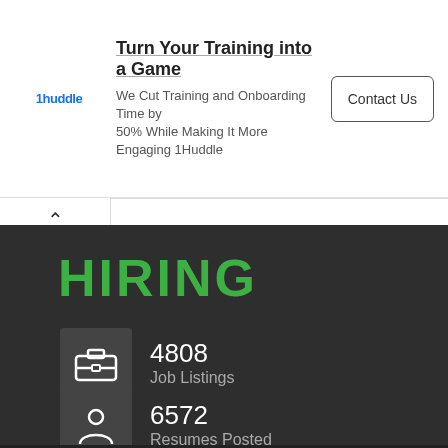[Figure (infographic): 1Huddle advertisement banner: logo on left, headline 'Turn Your Training into a Game', description text 'We Cut Training and Onboarding Time by 50% While Making It More Engaging 1Huddle', and a 'Contact Us' button on the right.]
Turn Your Training into a Game
We Cut Training and Onboarding Time by 50% While Making It More Engaging 1Huddle
HIRING
4808 Job Listings
6572 Resumes Posted